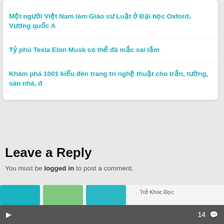Một người Việt Nam làm Giáo sư Luật ở Đại học Oxford, Vương quốc A
Tỷ phú Tesla Elon Musk có thể đã mắc sai lầm
Khám phá 1001 kiểu đèn trang trí nghệ thuật cho trần, tường, sàn nhà, đ
Leave a Reply
You must be logged in to post a comment.
14